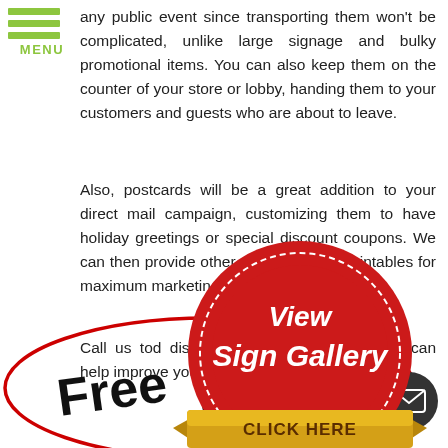[Figure (logo): Green hamburger menu icon with three horizontal green lines and 'MENU' text in green below]
any public event since transporting them won't be complicated, unlike large signage and bulky promotional items. You can also keep them on the counter of your store or lobby, handing them to your customers and guests who are about to leave.
Also, postcards will be a great addition to your direct mail campaign, customizing them to have holiday greetings or special discount coupons. We can then provide other complimentary printables for maximum marketing results.
Call us to and discover how our Livingston postca help improve your business perfo
[Figure (illustration): Red wax seal stamp with gold ribbon banner at bottom reading 'CLICK HERE', white text in center reading 'View Sign Gallery' in decorative script]
[Figure (illustration): Handwritten-style 'FREE QUOTE' text with red oval outline around it, phone button (green circle with phone icon) and email button (dark circle with envelope icon)]